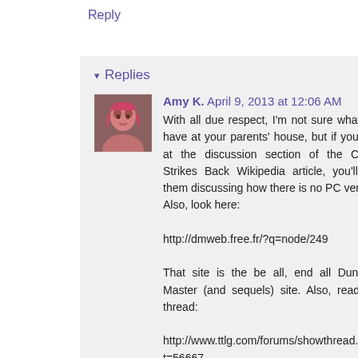Reply
▾ Replies
Amy K. April 9, 2013 at 12:06 AM
[Figure (photo): Avatar photo of Amy K., a woman with red/pink hair]
With all due respect, I'm not sure what you have at your parents' house, but if you look at the discussion section of the Chaos Strikes Back Wikipedia article, you'll see them discussing how there is no PC version. Also, look here:

http://dmweb.free.fr/?q=node/249

That site is the be all, end all Dungeon Master (and sequels) site. Also, read this thread:

http://www.ttlg.com/forums/showthread.php?t=56667

And:

http://www.giantbomb.com/dungeon-master-